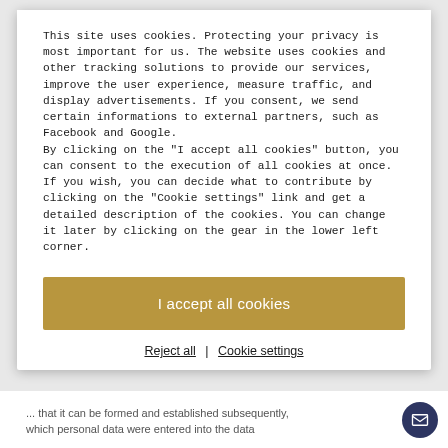This site uses cookies. Protecting your privacy is most important for us. The website uses cookies and other tracking solutions to provide our services, improve the user experience, measure traffic, and display advertisements. If you consent, we send certain informations to external partners, such as Facebook and Google.
By clicking on the "I accept all cookies" button, you can consent to the execution of all cookies at once.
If you wish, you can decide what to contribute by clicking on the "Cookie settings" link and get a detailed description of the cookies. You can change it later by clicking on the gear in the lower left corner.
I accept all cookies
Reject all | Cookie settings
... that it can be formed and established subsequently, which personal data were entered into the data